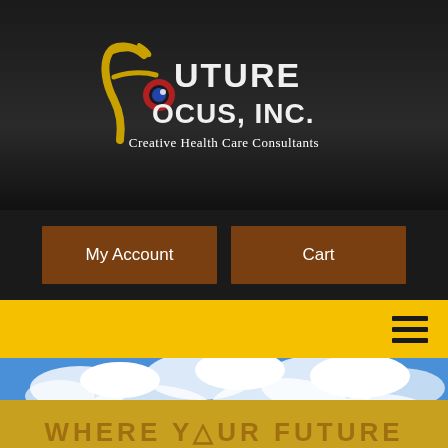[Figure (logo): Future Focus, Inc. logo with stylized golden F and globe icon, tagline: Creative Health Care Consultants]
My Account
Cart
[Figure (photo): Straight road through flat green fields under blue sky with white clouds, perspective view to horizon]
WHERE YOUR FUTURE